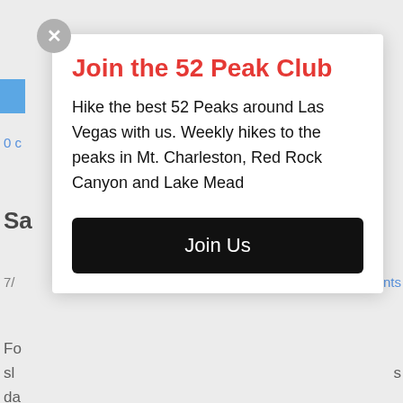[Figure (screenshot): Background webpage content partially visible behind modal overlay, showing truncated text lines, a blue bar element, blue link text, bold section header starting with 'Sa', date line, and paragraph text lines starting with 'Fo', 'sl', 'da', 'do', 'sa', 'b', 'In', 'ri', 'th', 'lo', 'd'.]
Join the 52 Peak Club
Hike the best 52 Peaks around Las Vegas with us. Weekly hikes to the peaks in Mt. Charleston, Red Rock Canyon and Lake Mead
Join Us